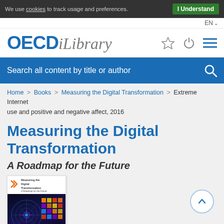We use cookies to track usage and preferences. I Understand
EN
[Figure (logo): OECD iLibrary logo with navigation icons (star, power, hamburger menu)]
Search all content by title or author
Home > Books > Measuring the Digital Transformation > Extreme Internet use and positive and negative affect, 2016
Measuring the Digital Transformation
A Roadmap for the Future
[Figure (photo): Book cover of Measuring the Digital Transformation: A Roadmap for the Future, showing OECD logo and a circuit/wheel image on dark background]